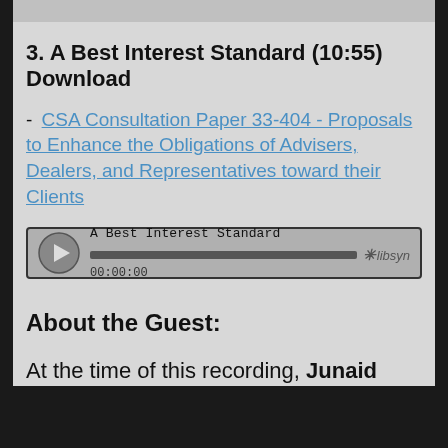[Figure (screenshot): Top portion of a webpage showing a cropped image/banner at top]
3. A Best Interest Standard (10:55)
Download
- CSA Consultation Paper 33-404 - Proposals to Enhance the Obligations of Advisers, Dealers, and Representatives toward their Clients
[Figure (screenshot): Audio player widget showing 'A Best Interest Standard' with play button, progress bar at 00:00:00, and Libsyn branding]
About the Guest:
At the time of this recording, Junaid